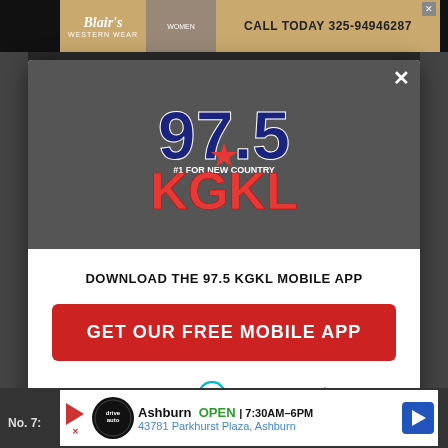[Figure (screenshot): Screenshot of a mobile website with a modal popup for 97.5 KGKL radio station mobile app download. The modal shows the KGKL logo, a download prompt, a red button to get the free mobile app, and an Amazon Alexa listen option. Background shows ads for Blair's Western Wear and an Ashburn auto service.]
Blair's WESTERN WEAR
CALL TODAY 325-94946287
[Figure (logo): 97.5 KGKL #1 FOR NEW COUNTRY radio station logo. Large bold blue 97.5 with a star, and red KGKL letters below.]
DOWNLOAD THE 97.5 KGKL MOBILE APP
GET OUR FREE MOBILE APP
Also listen on:  amazon alexa
No. 7:
Ashburn  OPEN | 7:30AM–6PM  43781 Parkhurst Plaza, Ashburn